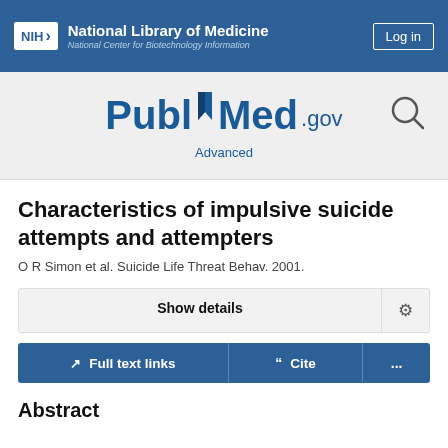NIH National Library of Medicine National Center for Biotechnology Information
[Figure (logo): PubMed.gov logo with search icon and Advanced link]
Characteristics of impulsive suicide attempts and attempters
O R Simon et al. Suicide Life Threat Behav. 2001.
Show details
Full text links | Cite | ...
Abstract